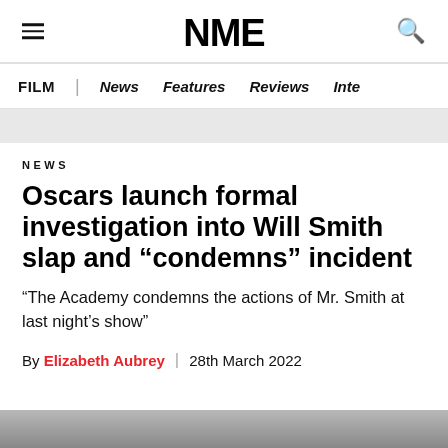NME
FILM | News  Features  Reviews  Inte...
NEWS
Oscars launch formal investigation into Will Smith slap and “condemns” incident
“The Academy condemns the actions of Mr. Smith at last night’s show”
By Elizabeth Aubrey | 28th March 2022